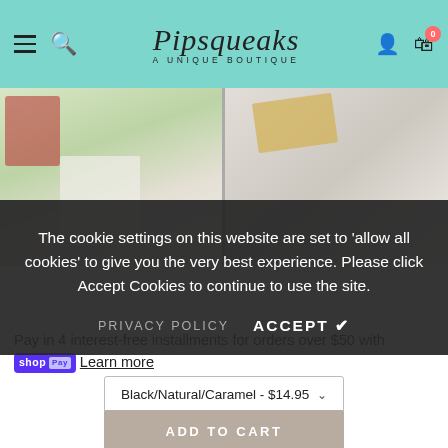Pipsqueaks A Unique Boutique
[Figure (photo): Two baby product photos side by side: left shows baby in white outfit with floral/leaf blanket, right shows baby/toddler with yellow bandana bib on white surface]
The cookie settings on this website are set to 'allow all cookies' to give you the very best experience. Please click Accept Cookies to continue to use the site.
PRIVACY POLICY   ACCEPT ✔
Pay in 4 interest-free installments for orders over $50 with shop Pay  Learn more
Black/Natural/Caramel - $14.95
ADD TO CART